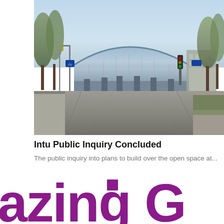[Figure (photo): Exterior photograph of a large glass-fronted building with a curved roof, taken from an empty road approach. Trees line both sides of the road. Traffic lights and road signs are visible. The scene appears quiet with no people or vehicles.]
Intu Public Inquiry Concluded
The public inquiry into plans to build over the open space at...
[Figure (logo): Partial view of large bold purple/magenta text reading 'azing G' — appears to be part of a logo or headline, cropped at the edges of the page.]